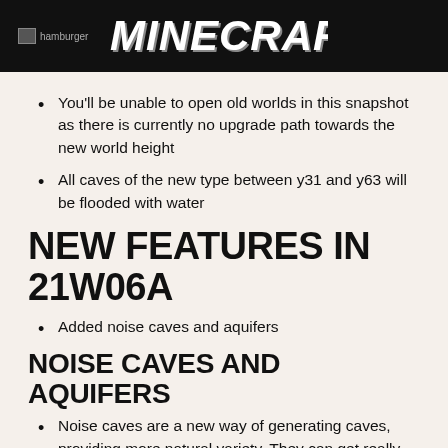MINECRAFT
You'll be unable to open old worlds in this snapshot as there is currently no upgrade path towards the new world height
All caves of the new type between y31 and y63 will be flooded with water
NEW FEATURES IN 21W06A
Added noise caves and aquifers
NOISE CAVES AND AQUIFERS
Noise caves are a new way of generating caves, providing more natural variety. They can get really